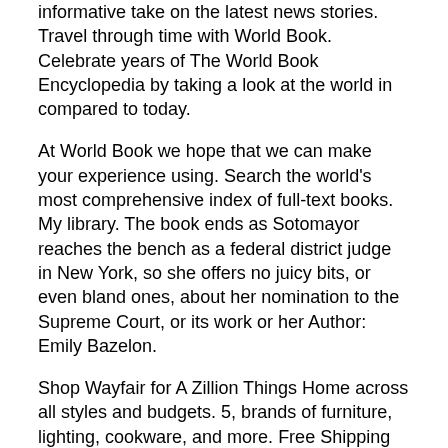informative take on the latest news stories. Travel through time with World Book. Celebrate years of The World Book Encyclopedia by taking a look at the world in compared to today.
At World Book we hope that we can make your experience using. Search the world's most comprehensive index of full-text books. My library. The book ends as Sotomayor reaches the bench as a federal district judge in New York, so she offers no juicy bits, or even bland ones, about her nomination to the Supreme Court, or its work or her Author: Emily Bazelon.
Shop Wayfair for A Zillion Things Home across all styles and budgets. 5, brands of furniture, lighting, cookware, and more. Free Shipping on most items. A Harlequin romance i read around I think. It's about a wife who ran away from her husband and had his daughter.
When she was found by her husband she was forced to resume her life with him. By Marisa 4 posts 21 views. last updated 16 minutes ago. Unsolved. Heroine who was damsel in the distress, had a daughter and had some power. Since it is the